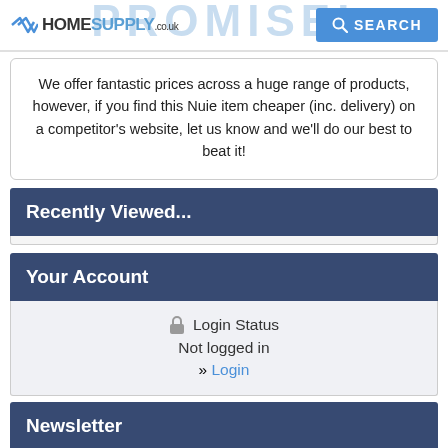HOMESUPPLY.co.uk  SEARCH
We offer fantastic prices across a huge range of products, however, if you find this Nuie item cheaper (inc. delivery) on a competitor's website, let us know and we'll do our best to beat it!
Recently Viewed...
Your Account
Login Status
Not logged in
» Login
Newsletter